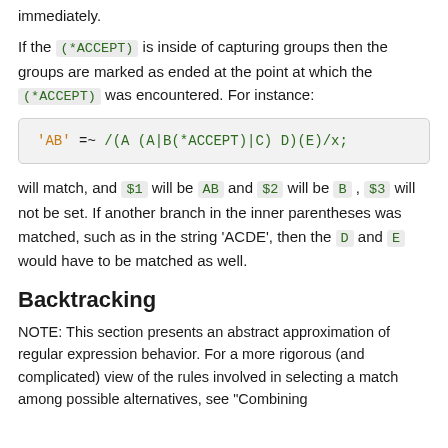immediately.
If the (*ACCEPT) is inside of capturing groups then the groups are marked as ended at the point at which the (*ACCEPT) was encountered. For instance:
'AB' =~ /(A (A|B(*ACCEPT)|C) D)(E)/x;
will match, and $1 will be AB and $2 will be B , $3 will not be set. If another branch in the inner parentheses was matched, such as in the string 'ACDE', then the D and E would have to be matched as well.
Backtracking
NOTE: This section presents an abstract approximation of regular expression behavior. For a more rigorous (and complicated) view of the rules involved in selecting a match among possible alternatives, see "Combining